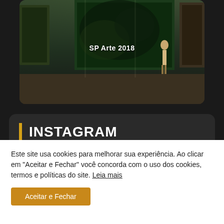[Figure (photo): Gallery interior with artwork on walls, person walking, dark floor. Card shows 'SP Arte 2018' label.]
SP Arte 2018
INSTAGRAM
[Figure (photo): Four Instagram thumbnail images: dark green foliage, blue book cover with text LIVRO COLLECTORS GABRIEL WICKBOLD, dark portrait face, and gallery artwork scene.]
Este site usa cookies para melhorar sua experiência. Ao clicar em "Aceitar e Fechar" você concorda com o uso dos cookies, termos e políticas do site. Leia mais
Aceitar e Fechar